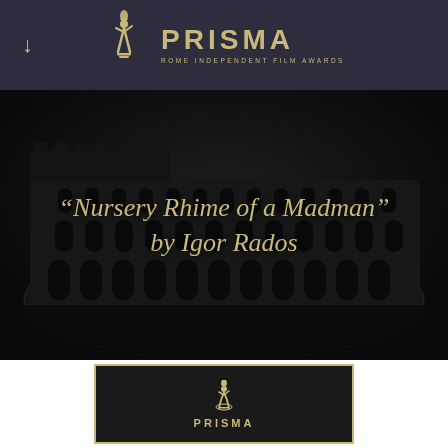[Figure (logo): PRISMA Rome Independent Film Awards logo with golden trophy figure on dark navy background header bar, with down-arrow navigation icon on the left]
[Figure (photo): Black and white photo of the Roman Colosseum at night serving as background for the film title overlay]
“Nursery Rhime of a Madman” by Igor Rados
[Figure (logo): PRISMA Rome Independent Film Awards award card with golden border on black background, trophy icon and PRISMA text]